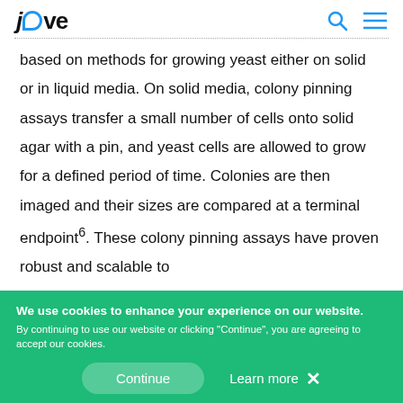jove
based on methods for growing yeast either on solid or in liquid media. On solid media, colony pinning assays transfer a small number of cells onto solid agar with a pin, and yeast cells are allowed to grow for a defined period of time. Colonies are then imaged and their sizes are compared at a terminal endpoint6. These colony pinning assays have proven robust and scalable to
We use cookies to enhance your experience on our website. By continuing to use our website or clicking "Continue", you are agreeing to accept our cookies.